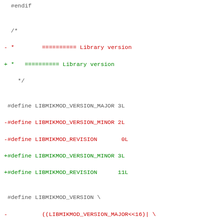#endif

/*
- *        ========== Library version
+ *   ========== Library version
  */

 #define LIBMIKMOD_VERSION_MAJOR 3L
-#define LIBMIKMOD_VERSION_MINOR 2L
-#define LIBMIKMOD_REVISION       0L
+#define LIBMIKMOD_VERSION_MINOR 3L
+#define LIBMIKMOD_REVISION      11L

 #define LIBMIKMOD_VERSION \
-          ((LIBMIKMOD_VERSION_MAJOR<<16)| \
-           (LIBMIKMOD_VERSION_MINOR<< 8)| \
-           (LIBMIKMOD_REVISION))
+      ((LIBMIKMOD_VERSION_MAJOR<<16)| \
+      (LIBMIKMOD_VERSION_MINOR<< 8)| \
+      (LIBMIKMOD_REVISION))

 MIKMODAPI extern long MikMod_GetVersion(void);

/*
- *        ========== Platform independent-type defini
+ *   ========== Dependency platform headers
  */
-#if 0
-#ifdef WIN32
+